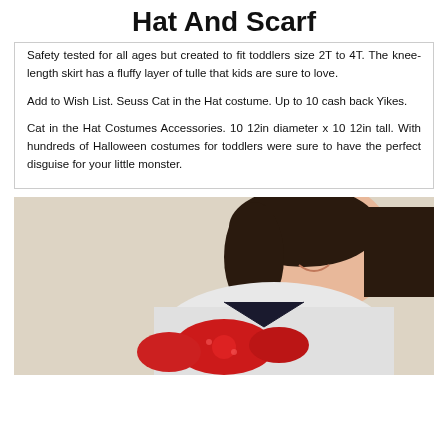Hat And Scarf
Safety tested for all ages but created to fit toddlers size 2T to 4T. The knee-length skirt has a fluffy layer of tulle that kids are sure to love.
Add to Wish List. Seuss Cat in the Hat costume. Up to 10 cash back Yikes.
Cat in the Hat Costumes Accessories. 10 12in diameter x 10 12in tall. With hundreds of Halloween costumes for toddlers were sure to have the perfect disguise for your little monster.
[Figure (photo): A child smiling, wearing a white collared shirt and holding a red bow-tie or scarf accessory, photographed against a light beige background.]